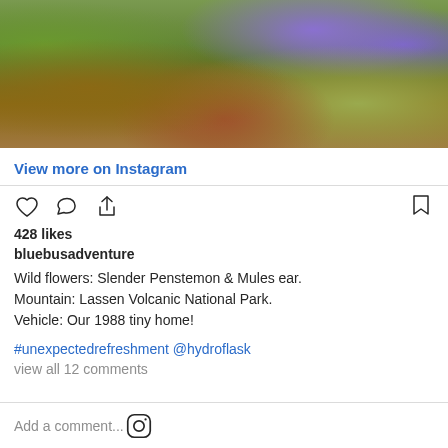[Figure (photo): Wildflower meadow scene with green grasses, purple flowers (Slender Penstemon), yellow flowers (Mules ear), at Lassen Volcanic National Park]
View more on Instagram
428 likes
bluebusadventure
Wild flowers: Slender Penstemon & Mules ear.
Mountain: Lassen Volcanic National Park.
Vehicle: Our 1988 tiny home!
#unexpectedrefreshment @hydroflask
view all 12 comments
Add a comment...